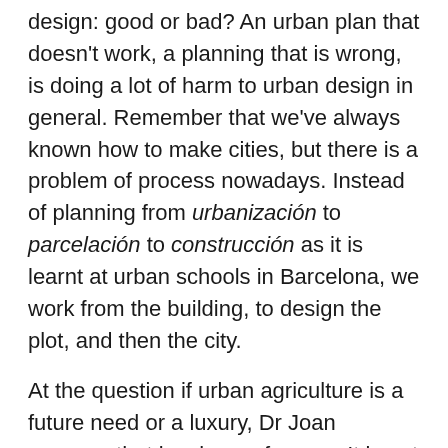design: good or bad? An urban plan that doesn't work, a planning that is wrong, is doing a lot of harm to urban design in general. Remember that we've always known how to make cities, but there is a problem of process nowadays. Instead of planning from urbanización to parcelación to construcción as it is learnt at urban schools in Barcelona, we work from the building, to design the plot, and then the city.
At the question if urban agriculture is a future need or a luxury, Dr Joan answers that is a luxury for now. It is not enough impacting for the food effort which is needed.
If there is no public policy to count on, like building villages with good services, spontaneous migration is always towards the biggest cities.